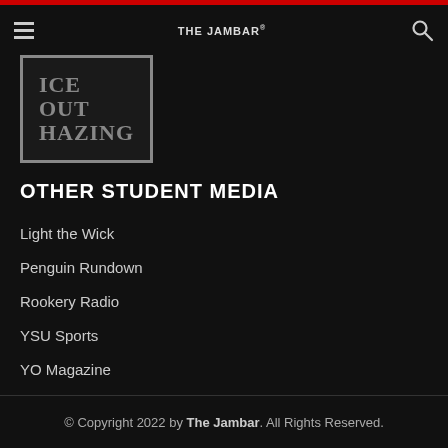THE JAMBAR
[Figure (logo): ICE OUT HAZING logo in bold serif text on dark background with border]
OTHER STUDENT MEDIA
Light the Wick
Penguin Rundown
Rookery Radio
YSU Sports
YO Magazine
© Copyright 2022 by The Jambar. All Rights Reserved.